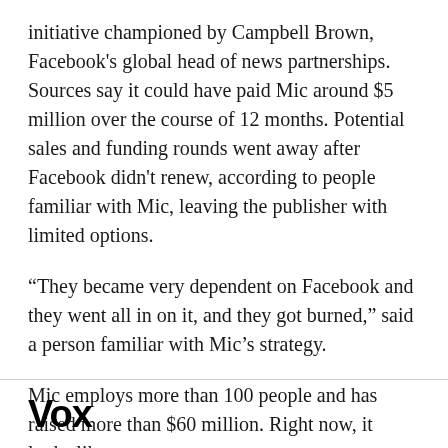initiative championed by Campbell Brown, Facebook's global head of news partnerships. Sources say it could have paid Mic around $5 million over the course of 12 months. Potential sales and funding rounds went away after Facebook didn't renew, according to people familiar with Mic, leaving the publisher with limited options.
“They became very dependent on Facebook and they went all in on it, and they got burned,” said a person familiar with Mic’s strategy.
Mic employs more than 100 people and has raised more than $60 million. Right now, it looks like
Vox